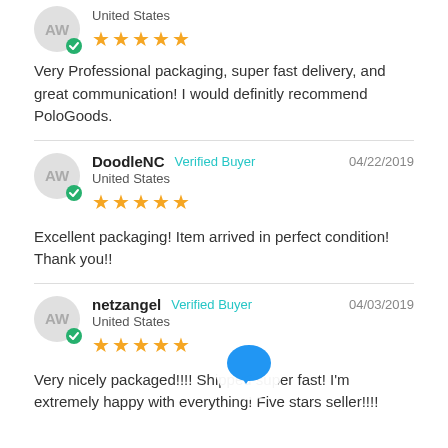[Figure (other): Partial reviewer avatar with 'AW' initials and verified badge, showing United States and 5 gold stars (top of page, partial view)]
Very Professional packaging, super fast delivery, and great communication! I would definitly recommend PoloGoods.
DoodleNC   Verified Buyer   04/22/2019
United States
★★★★★
Excellent packaging! Item arrived in perfect condition! Thank you!!
netzangel   Verified Buyer   04/03/2019
United States
★★★★★
Very nicely packaged!!!! Shipped super fast! I'm extremely happy with everything! Five stars seller!!!!